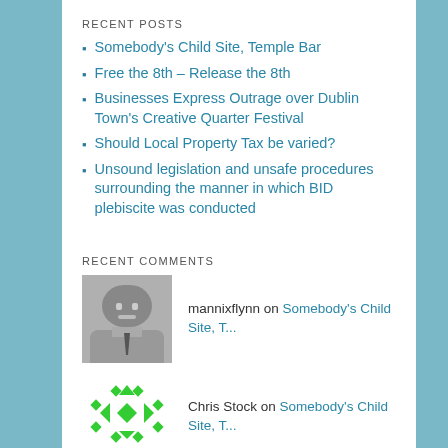RECENT POSTS
Somebody's Child Site, Temple Bar
Free the 8th – Release the 8th
Businesses Express Outrage over Dublin Town's Creative Quarter Festival
Should Local Property Tax be varied?
Unsound legislation and unsafe procedures surrounding the manner in which BID plebiscite was conducted
RECENT COMMENTS
mannixflynn on Somebody's Child Site, T...
Chris Stock on Somebody's Child Site, T...
Trish Hearne on Somebody's Child Site, T...
mannixflynn on Somebody's Child Site, T...